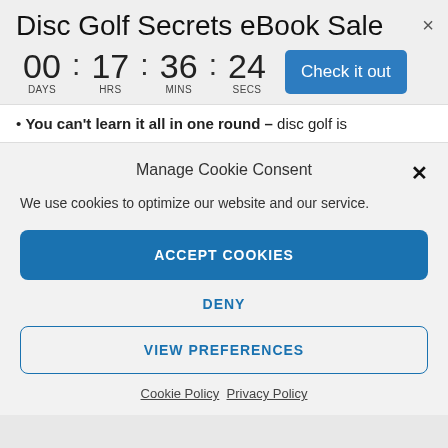Disc Golf Secrets eBook Sale
00 : 17 : 36 : 24 DAYS HRS MINS SECS
You can't learn it all in one round – disc golf is
Manage Cookie Consent
We use cookies to optimize our website and our service.
ACCEPT COOKIES
DENY
VIEW PREFERENCES
Cookie Policy  Privacy Policy